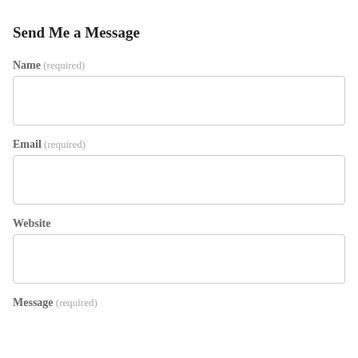Send Me a Message
Name (required)
Email (required)
Website
Message (required)